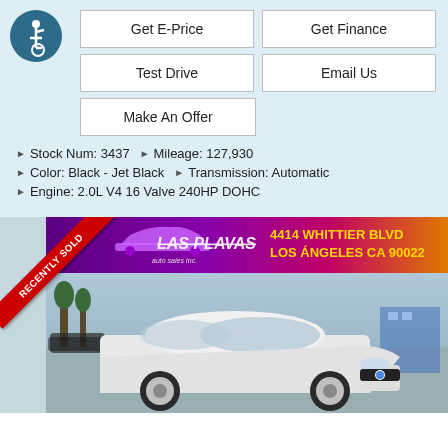[Figure (logo): Wheelchair accessibility icon in a dark teal circle]
Get E-Price
Get Finance
Test Drive
Email Us
Make An Offer
Stock Num: 3437  ▶  Mileage: 127,930
Color: Black - Jet Black  ▶  Transmission: Automatic
Engine: 2.0L V4 16 Valve 240HP DOHC
[Figure (photo): White BMW sedan at Las Plavas Auto Sales Inc dealership lot, with a RECENTLY SOLD red diagonal badge, dealer banner showing address 4414 Whittier Blvd, Los Angeles CA 90022]